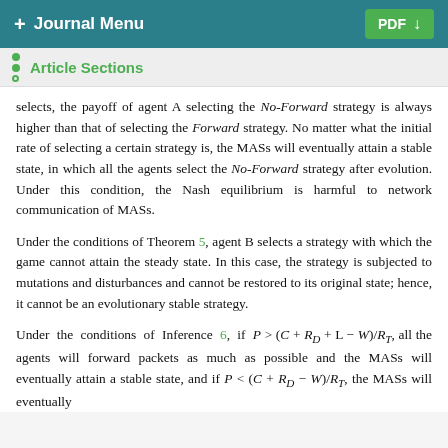+ Journal Menu | PDF ↓
Article Sections
selects, the payoff of agent A selecting the No-Forward strategy is always higher than that of selecting the Forward strategy. No matter what the initial rate of selecting a certain strategy is, the MASs will eventually attain a stable state, in which all the agents select the No-Forward strategy after evolution. Under this condition, the Nash equilibrium is harmful to network communication of MASs.
Under the conditions of Theorem 5, agent B selects a strategy with which the game cannot attain the steady state. In this case, the strategy is subjected to mutations and disturbances and cannot be restored to its original state; hence, it cannot be an evolutionary stable strategy.
Under the conditions of Inference 6, if P > (C + R_D + L − W)/R_T, all the agents will forward packets as much as possible and the MASs will eventually attain a stable state, and if P < (C + R_D − W)/R_T, the MASs will eventually